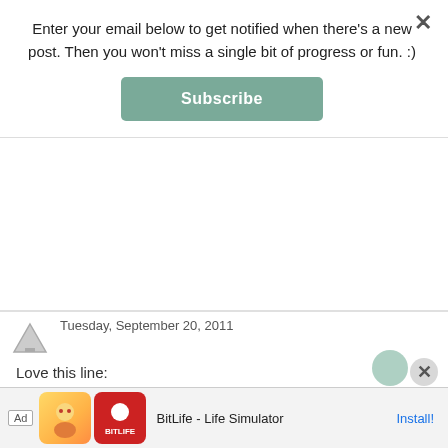Enter your email below to get notified when there's a new post. Then you won't miss a single bit of progress or fun. :)
Subscribe
Tuesday, September 20, 2011
Love this line:
In went spacers to make sure grout lines would be consistent throughout (might I add that it's no coincidence they're cross-shaped - Jesus loving sacrifice, mercy, and grace serves to keep us nice and straight)
You are ever mindful, aren't you? Love the way you LIVE your Faith daily! xoxo
Ad  BitLife - Life Simulator  Install!